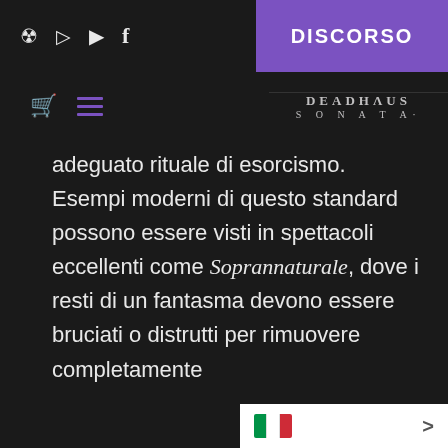DISCORSO
[Figure (logo): DEADHAUS SONATA brand logo in grey lettering]
adeguato rituale di esorcismo. Esempi moderni di questo standard possono essere visti in spettacoli eccellenti come Soprannaturale, dove i resti di un fantasma devono essere bruciati o distrutti per rimuovere completamente